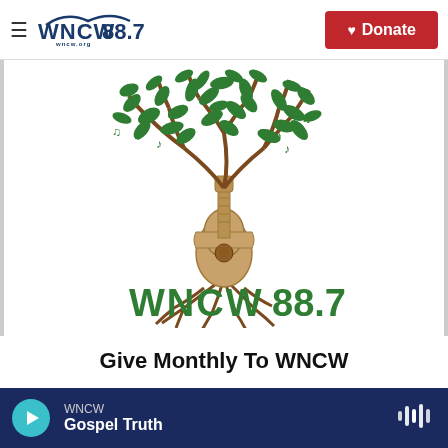WNCW 88.7 | Donate
[Figure (logo): WNCW 88.7 logo featuring a tree with green leaves and musical notes, a guitar as the trunk, brown roots, and 'WNCW 88.7' text in green below]
Give Monthly To WNCW
WNCW | Gospel Truth (player bar)